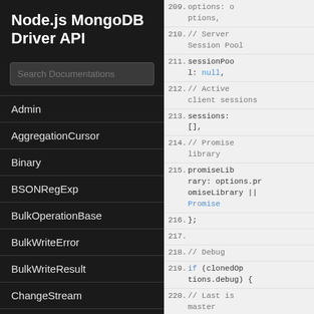Node.js MongoDB Driver API
Search Documentations
Admin
AggregationCursor
Binary
BSONRegExp
BulkOperationBase
BulkWriteError
BulkWriteResult
ChangeStream
ClientSession
Code
[Figure (screenshot): Code listing showing lines 209-221 of Node.js MongoDB Driver source code]